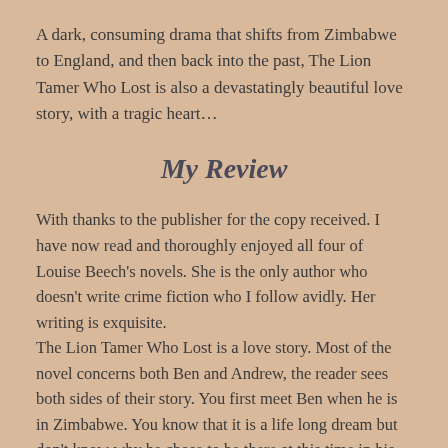A dark, consuming drama that shifts from Zimbabwe to England, and then back into the past, The Lion Tamer Who Lost is also a devastatingly beautiful love story, with a tragic heart…
My Review
With thanks to the publisher for the copy received. I have now read and thoroughly enjoyed all four of Louise Beech's novels. She is the only author who doesn't write crime fiction who I follow avidly. Her writing is exquisite.
The Lion Tamer Who Lost is a love story. Most of the novel concerns both Ben and Andrew, the reader sees both sides of their story. You first meet Ben when he is in Zimbabwe. You know that it is a life long dream but don't know why he chose to be there at this time in his life. He is struggling with his